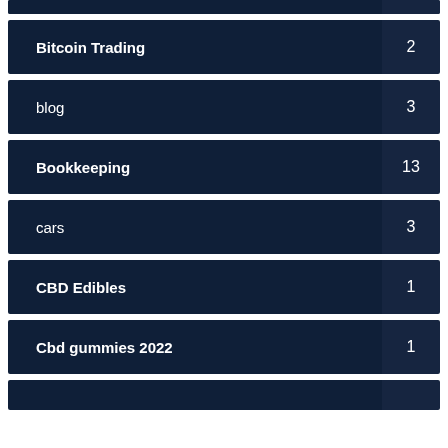Bitcoin Trading 2
blog 3
Bookkeeping 13
cars 3
CBD Edibles 1
Cbd gummies 2022 1